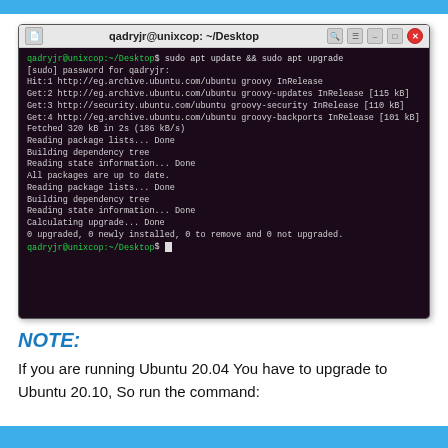[Figure (screenshot): Terminal window showing Ubuntu shell session. Title bar: 'qadryjr@unixcop: ~/Desktop'. Terminal output shows: 'qadryjr@unixcop:~/Desktop$ sudo apt update && sudo apt upgrade', followed by [sudo] password prompt, package fetching lines (Hit:1, Get:2, Get:3, Get:4 for various ubuntu repositories), fetched 320 kB, reading package lists, building dependency tree, reading state information, 'All packages are up to date.', second round of reading/building, calculating upgrade, '0 upgraded, 0 newly installed, 0 to remove and 0 not upgraded.', then prompt again.]
NOTE:
If you are running Ubuntu 20.04 You have to upgrade to Ubuntu 20.10, So run the command: